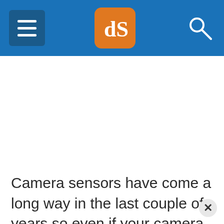dPS navigation header with hamburger menu, logo, and search icon
Camera sensors have come a long way in the last couple of years so even if your camera isn't top